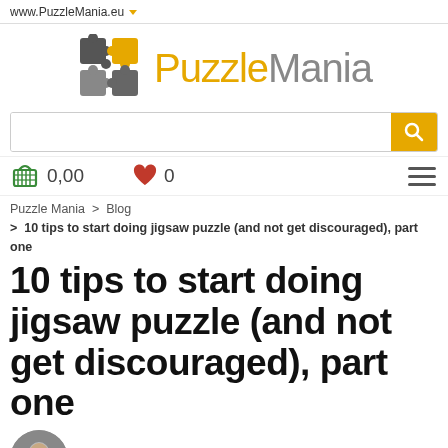www.PuzzleMania.eu
[Figure (logo): PuzzleMania logo with puzzle piece icon and text 'PuzzleMania' in orange and grey]
0,00
0
Puzzle Mania > Blog > 10 tips to start doing jigsaw puzzle (and not get discouraged), part one
10 tips to start doing jigsaw puzzle (and not get discouraged), part one
[Figure (photo): Small circular author profile photo showing a man's face]